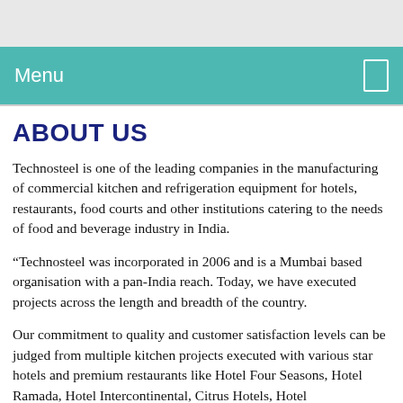Menu
ABOUT US
Technosteel is one of the leading companies in the manufacturing of commercial kitchen and refrigeration equipment for hotels, restaurants, food courts and other institutions catering to the needs of food and beverage industry in India.
“Technosteel was incorporated in 2006 and is a Mumbai based organisation with a pan-India reach. Today, we have executed projects across the length and breadth of the country.
Our commitment to quality and customer satisfaction levels can be judged from multiple kitchen projects executed with various star hotels and premium restaurants like Hotel Four Seasons, Hotel Ramada, Hotel Intercontinental, Citrus Hotels, Hotel